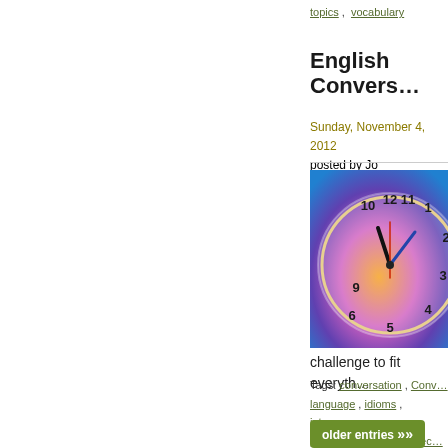topics ,  vocabulary
English Convers…
Sunday, November 4, 2012
posted by Jo
[Figure (photo): Close-up photo of a clock face with colorful purple, blue, orange and yellow lighting, showing clock hands and numbers.]
challenge to fit everyth…
Tags:  conversation ,  Conv… ,  language ,  idioms ,  interne… ,  phrases ,  questions ,  sec…
older entries »»